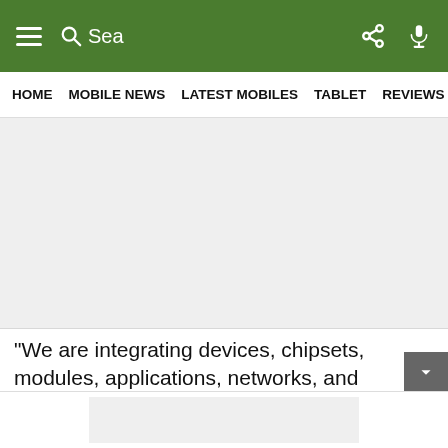≡  Sea  share  mic
HOME  MOBILE NEWS  LATEST MOBILES  TABLET  REVIEWS  FE...
[Figure (other): Advertisement placeholder area, light gray background]
"We are integrating devices, chipsets, modules, applications, networks, and managed service. That's a differentiated offering. We are integrating all elements of the value chain of IoT," said Abhijit Kishore, Chief Enterprise Business Officer, Vodafone-Idea. Notably, the new development comes soon after Airtel launched its